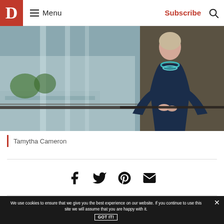D | Menu | Subscribe
[Figure (photo): Woman in navy blue dress with teal bead necklace, standing by glass railing overlooking a cityscape/highway, photographed from mid-torso up.]
Tamytha Cameron
[Figure (infographic): Social sharing icons row: Facebook, Twitter, Pinterest, Email]
We use cookies to ensure that we give you the best experience on our website. If you continue to use this site we will assume that you are happy with it.
GOT IT!